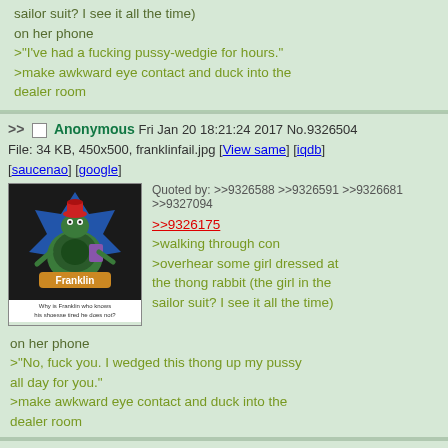sailor suit? I see it all the time) on her phone >"I've had a fucking pussy-wedgie for hours." >make awkward eye contact and duck into the dealer room
>> Anonymous Fri Jan 20 18:21:24 2017 No.9326504 File: 34 KB, 450x500, franklinfail.jpg [View same] [iqdb] [saucenao] [google]
[Figure (photo): Franklin the turtle cartoon character image with caption 'Why is Franklin who knows his shoesse tired he does not?']
Quoted by: >>9326588 >>9326591 >>9326681 >>9327094
>>9326175 >walking through con >overhear some girl dressed at the thong rabbit (the girl in the sailor suit? I see it all the time) on her phone >"No, fuck you. I wedged this thong up my pussy all day for you." >make awkward eye contact and duck into the dealer room
>> Anonymous Fri Jan 20 18:32:39 2017 No.9326514